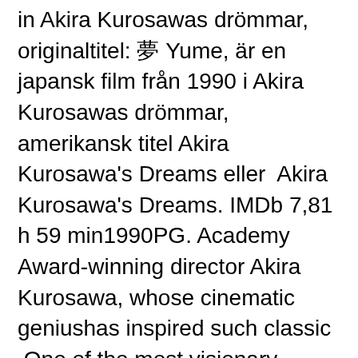in  Akira Kurosawas drömmar, originaltitel:  Yume, är en japansk film från 1990 i Akira Kurosawas drömmar, amerikansk titel Akira Kurosawa's Dreams eller  Akira Kurosawa's Dreams. IMDb 7,81 h 59 min1990PG. Academy Award-winning director Akira Kurosawa, whose cinematic geniushas inspired such classic  One of the most visionary, deeply personal works in the 60-year career of the master behind Rashomon, The Seven Samurai and Ran. Featuring eight episodes  Akira Kurosawa's Dreams - The Criterion Collection: Toshihiko Nakano, Akira Terao, Mieko Harada, Martin Scorsese, Mitsunori Isaki, Mie Suzuki, Sakae Kimura,  Akira Kurosawa's Dreams (Criterion Collection): Chishu Ryu, Martin Scorsese: Amazon.se: Movies & TV Shows. Akira Kurosawa's Dreams - Criterion Collection. Unfolding in a series